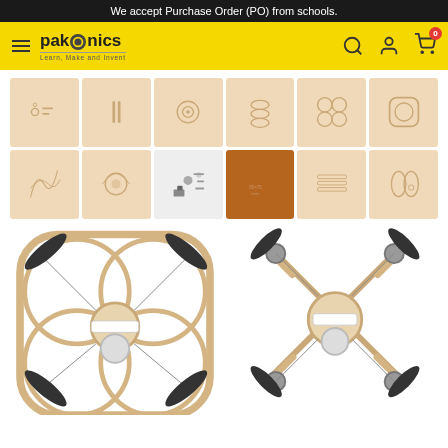We accept Purchase Order (PO) from schools.
[Figure (logo): Pakronics logo with tagline Learn, Make and Invent on yellow navigation bar with hamburger menu, search, account and cart icons]
[Figure (photo): Grid of 12 laser-cut wooden drone kit part panels and components including body parts, propeller guards, motor mounts, and electronic components]
[Figure (photo): Two assembled drone views: left shows wooden frame drone with circular propeller guards from top view, right shows cross-frame drone variant from top view, both with dark propellers]